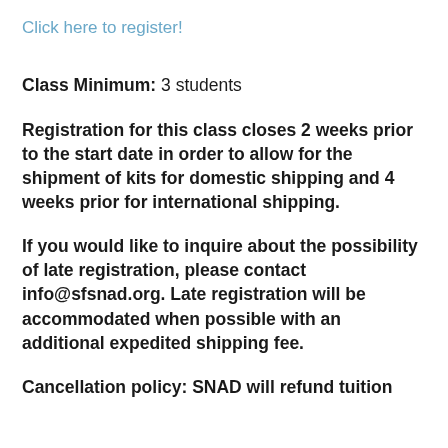Click here to register!
Class Minimum: 3 students
Registration for this class closes 2 weeks prior to the start date in order to allow for the shipment of kits for domestic shipping and 4 weeks prior for international shipping.
If you would like to inquire about the possibility of late registration, please contact info@sfsnad.org. Late registration will be accommodated when possible with an additional expedited shipping fee.
Cancellation policy: SNAD will refund tuition